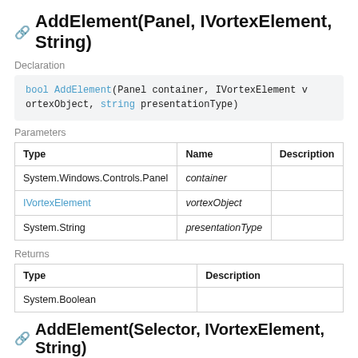AddElement(Panel, IVortexElement, String)
Declaration
Parameters
| Type | Name | Description |
| --- | --- | --- |
| System.Windows.Controls.Panel | container |  |
| IVortexElement | vortexObject |  |
| System.String | presentationType |  |
Returns
| Type | Description |
| --- | --- |
| System.Boolean |  |
AddElement(Selector, IVortexElement, String)